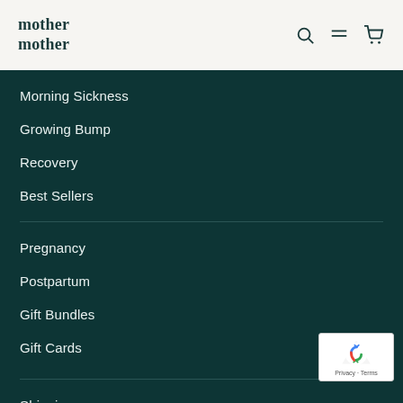mother mother
Morning Sickness
Growing Bump
Recovery
Best Sellers
Pregnancy
Postpartum
Gift Bundles
Gift Cards
Shipping